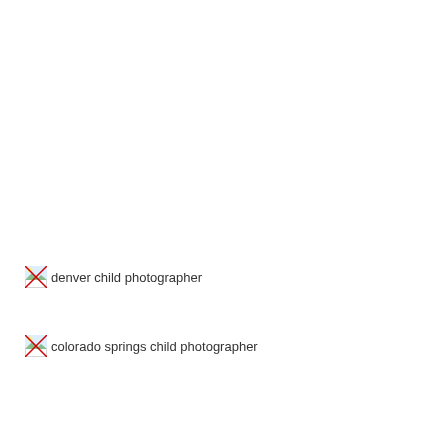[Figure (photo): Broken image placeholder with alt text: denver child photographer]
[Figure (photo): Broken image placeholder with alt text: colorado springs child photographer]